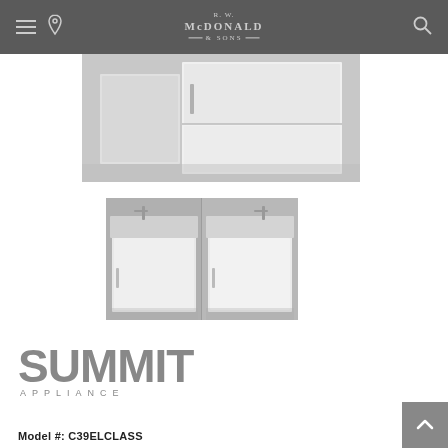R.W. McDonald & Sons — navigation bar with hamburger menu, location pin, logo, and search icon
[Figure (photo): Product photo showing a compact refrigerator with stainless steel top, white cabinet doors, viewed from front/side angle on reflective surface]
[Figure (photo): Two side-by-side product photos showing Summit compact sink/refrigerator combo units with stainless steel countertop and single faucet, white cabinet below, on gray floor]
[Figure (logo): Summit Appliance logo in gray block letters]
Model #: C39ELCLASS